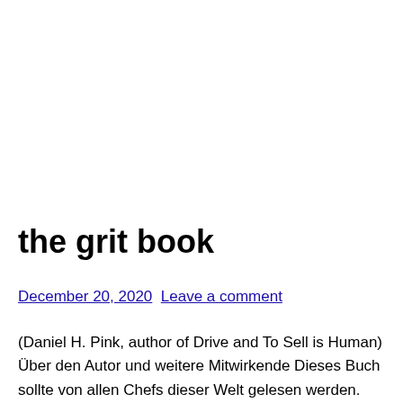the grit book
December 20, 2020  Leave a comment
(Daniel H. Pink, author of Drive and To Sell is Human) Über den Autor und weitere Mitwirkende Dieses Buch sollte von allen Chefs dieser Welt gelesen werden. Grit: The Power of Passion and Perseverance | Duckworth, Angela | ISBN: 9781501111105 | Kostenloser Versand für alle Bücher mit Versand und Verkauf duch Amazon. The book explores success in the business, sporting, academic and other walks of life, so interesting to all readers